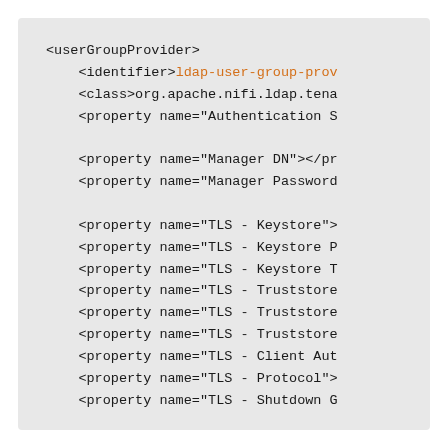[Figure (screenshot): A code block on a light gray background showing XML configuration for a userGroupProvider element. The identifier value is highlighted in orange ('ldap-user-group-prov...'). Lines include class, property elements for Authentication Strategy, Manager DN, Manager Password, TLS Keystore, Keystore Password, Keystore Type, Truststore (x3), Client Auth, Protocol, and Shutdown Grace Period — all truncated at the right edge.]